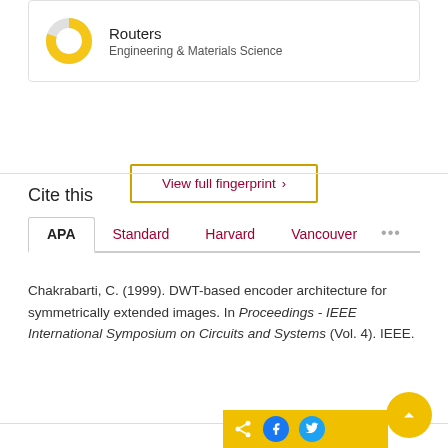[Figure (donut-chart): Small donut chart icon with yellow segment, representing Routers topic coverage]
Routers
Engineering & Materials Science
View full fingerprint >
Cite this
APA  Standard  Harvard  Vancouver  ...
Chakrabarti, C. (1999). DWT-based encoder architecture for symmetrically extended images. In Proceedings - IEEE International Symposium on Circuits and Systems (Vol. 4). IEEE.